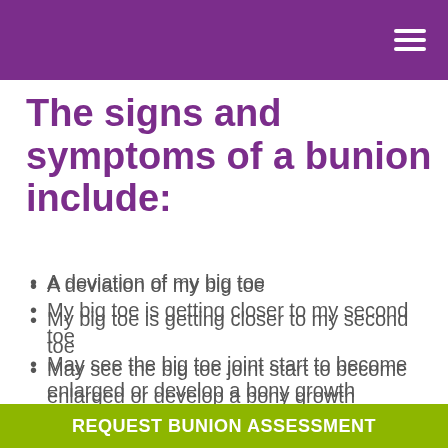The signs and symptoms of a bunion include:
A deviation of my big toe
My big toe is getting closer to my second toe
May see the big toe joint start to become enlarged or develop a bony growth
Any one in my family has a bunion
Pain in my big toe joint (sometimes this can be the last sign)
REQUEST BUNION ASSESSMENT